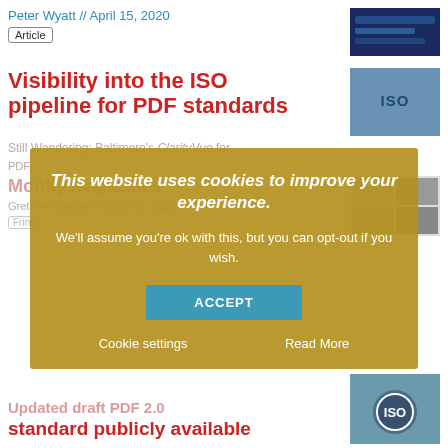Peter Wyatt // April 15, 2020
Article
Visibility into the ISO pipeline for PDF standards
[Figure (screenshot): Cookie consent overlay with gold/yellow background. Text: 'This website uses cookies to improve your experience. We'll assume you're ok with this, but you can opt-out if you wish.' Accept button and Cookie settings / Read More links.]
Updated draft PDF 2.0 standard publicly available